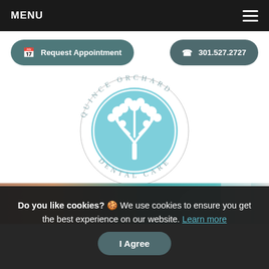MENU
Request Appointment
301.527.2727
[Figure (logo): Quince Orchard Dental Care circular logo with a white tree illustration on a light blue circle background, surrounded by text 'QUINCE ORCHARD DENTAL CARE' in a circular arrangement]
[Figure (photo): Partial view of a person with red/orange hair at a dental office with teal walls and dental equipment visible]
Do you like cookies? 🍪 We use cookies to ensure you get the best experience on our website. Learn more  I Agree